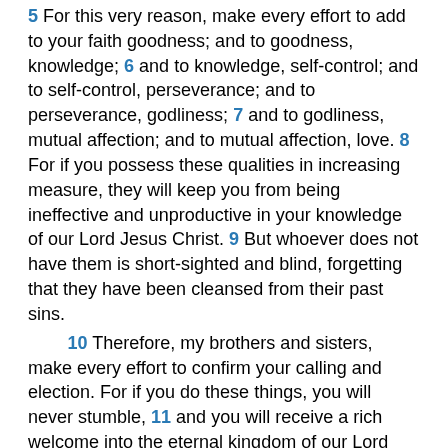5 For this very reason, make every effort to add to your faith goodness; and to goodness, knowledge; 6 and to knowledge, self-control; and to self-control, perseverance; and to perseverance, godliness; 7 and to godliness, mutual affection; and to mutual affection, love. 8 For if you possess these qualities in increasing measure, they will keep you from being ineffective and unproductive in your knowledge of our Lord Jesus Christ. 9 But whoever does not have them is short-sighted and blind, forgetting that they have been cleansed from their past sins.
10 Therefore, my brothers and sisters, make every effort to confirm your calling and election. For if you do these things, you will never stumble, 11 and you will receive a rich welcome into the eternal kingdom of our Lord and Saviour Jesus Christ.
Prophecy of Scripture
12 So I will always remind you of these things, even though you know them and are firmly established in the